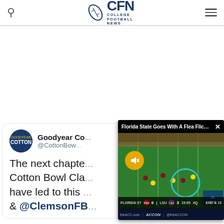CFN College Football News
[Figure (screenshot): CFN College Football News website screenshot showing a tweet from Goodyear Cotton Bowl @CottonBowl and a video overlay of Florida State flea flicker play]
Goodyear Co... @CottonBow... The next chapte... Cotton Bowl Cla... have led to this... & @ClemsonFB...